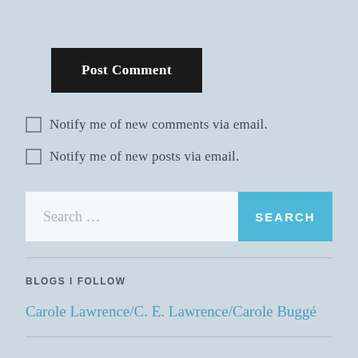[Figure (screenshot): A dark black button labeled 'Post Comment']
Notify me of new comments via email.
Notify me of new posts via email.
[Figure (screenshot): A search bar with placeholder text 'Search ...' and a blue SEARCH button]
BLOGS I FOLLOW
Carole Lawrence/C. E. Lawrence/Carole Buggé